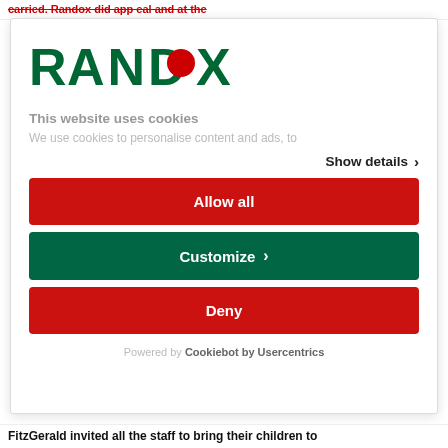carried. Randox did app eal and at the
[Figure (logo): Randox logo — dark green bold text 'RANDOX' with a red filled circle replacing the 'O']
This website uses cookies
We use cookies to personalise content and ads, to
Show details >
Allow all
Customize >
Deny
Powered by Cookiebot by Usercentrics
FitzGerald invited all the staff to bring their children to